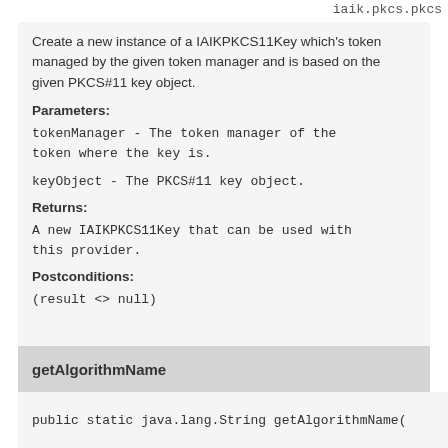iaik.pkcs.pkcs
Create a new instance of a IAIKPKCS11Key which's token managed by the given token manager and is based on the given PKCS#11 key object.
Parameters:
tokenManager - The token manager of the token where the key is.
keyObject - The PKCS#11 key object.
Returns:
A new IAIKPKCS11Key that can be used with this provider.
Postconditions:
(result <> null)
getAlgorithmName
public static java.lang.String getAlgorithmName(